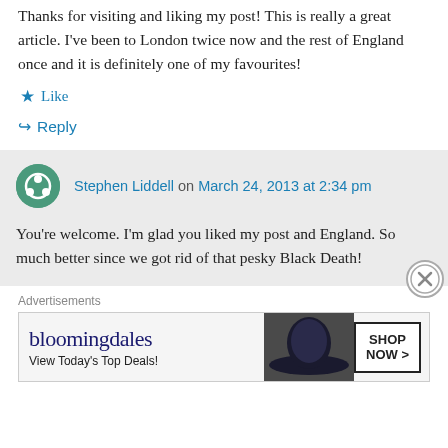Thanks for visiting and liking my post! This is really a great article. I've been to London twice now and the rest of England once and it is definitely one of my favourites!
★ Like
↪ Reply
Stephen Liddell on March 24, 2013 at 2:34 pm
You're welcome. I'm glad you liked my post and England. So much better since we got rid of that pesky Black Death!
Advertisements
[Figure (other): Bloomingdale's advertisement banner with hat image and Shop Now button]